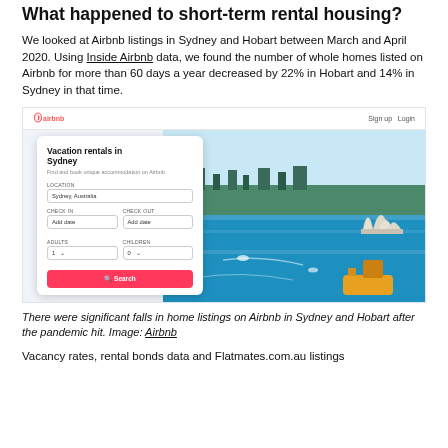What happened to short-term rental housing?
We looked at Airbnb listings in Sydney and Hobart between March and April 2020. Using Inside Airbnb data, we found the number of whole homes listed on Airbnb for more than 60 days a year decreased by 22% in Hobart and 14% in Sydney in that time.
[Figure (screenshot): Screenshot of Airbnb website showing 'Vacation rentals in Sydney' search interface overlaid on a photo of Sydney Harbour with the Opera House visible.]
There were significant falls in home listings on Airbnb in Sydney and Hobart after the pandemic hit. Image: Airbnb
Vacancy rates, rental bonds data and Flatmates.com.au listings